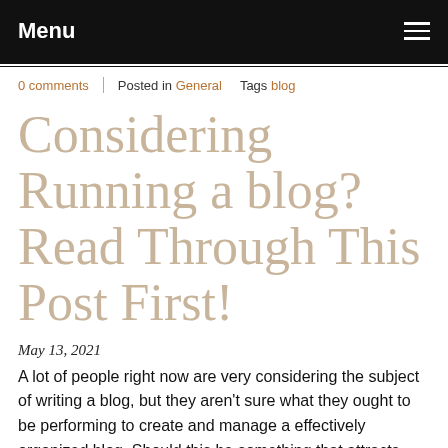Menu
0 comments | Posted in General   Tags blog
Considering Running a blog? Read Through This Post First!
May 13, 2021
A lot of people right now are very considering the subject of writing a blog, but they aren't sure what they ought to be performing to create and manage a effectively organized blog. Should this be something that attracts your curiosity then you